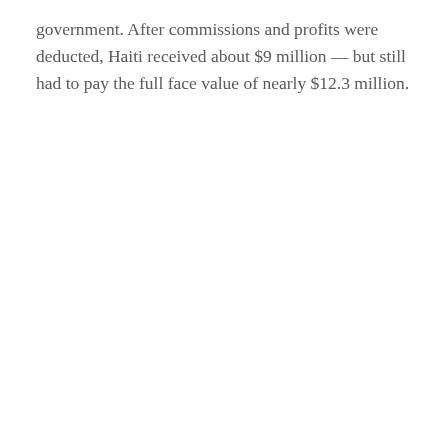government. After commissions and profits were deducted, Haiti received about $9 million — but still had to pay the full face value of nearly $12.3 million.